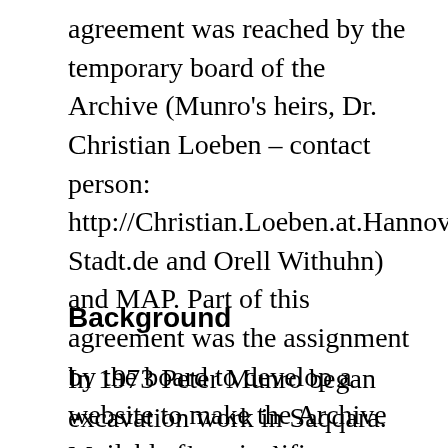agreement was reached by the temporary board of the Archive (Munro's heirs, Dr. Christian Loeben – contact person: http://Christian.Loeben.at.Hannover-Stadt.de and Orell Withuhn) and MAP. Part of this agreement was the assignment by the board to develop a website to make the Archive available for scientific research (see below). Thus, the website and its contents is exclusively meant for scientific use. The board, as principal, bears full responsibility.
Background
In 1973 Peter Munro began excavation work in Saqqara. Munro took over the concession from Zaki Youssef Saad, an Egyptian